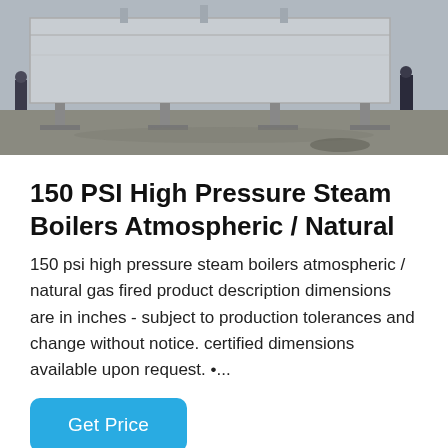[Figure (photo): Industrial steam boiler unit viewed from outside, large rectangular metal box structure on supports, workers visible in background]
150 PSI High Pressure Steam Boilers Atmospheric / Natural
150 psi high pressure steam boilers atmospheric / natural gas fired product description dimensions are in inches - subject to production tolerances and change without notice. certified dimensions available upon request. •...
Get Price
[Figure (photo): Industrial steam boiler viewed from inside a factory, showing circular front face of boiler with piping, yellow equipment on right, blue structural elements on left]